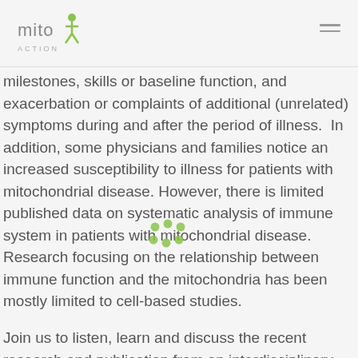MitoAction
milestones, skills or baseline function, and exacerbation or complaints of additional (unrelated) symptoms during and after the period of illness. In addition, some physicians and families notice an increased susceptibility to illness for patients with mitochondrial disease. However, there is limited published data on systematic analysis of immune system in patients with mitochondrial disease. Research focusing on the relationship between immune function and the mitochondria has been mostly limited to cell-based studies.
Join us to listen, learn and discuss the recent research and publication from an interdisciplinary collaboration between clinical investigators, Dr. Melissa Walker (Neurology), Katherine Sims (Metabolic Diseases) and